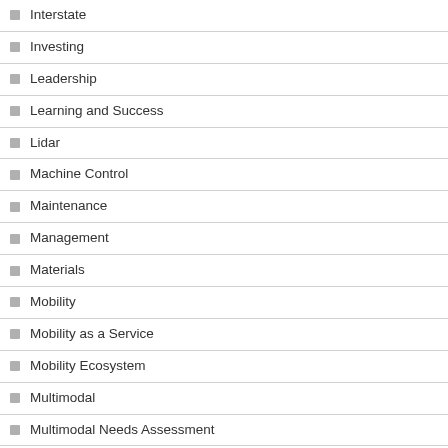Interstate
Investing
Leadership
Learning and Success
Lidar
Machine Control
Maintenance
Management
Materials
Mobility
Mobility as a Service
Mobility Ecosystem
Multimodal
Multimodal Needs Assessment
Needs Assessments